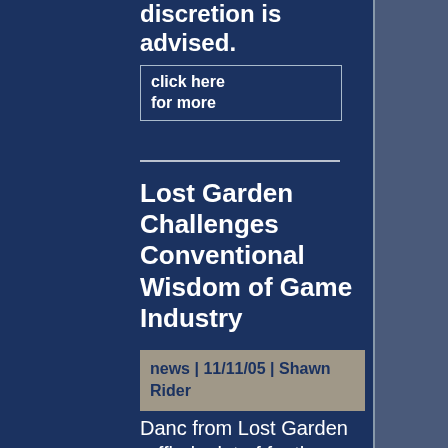discretion is advised.
click here for more
Lost Garden Challenges Conventional Wisdom of Game Industry
news | 11/11/05 | Shawn Rider
Danc from Lost Garden ruffled a lot of feathers with his article about Nintendo\'s Revolution controller...